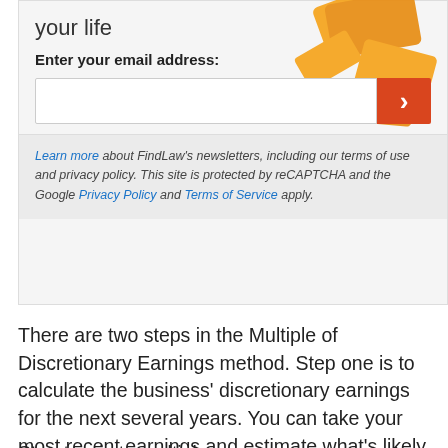your life
Enter your email address:
[Figure (screenshot): Email signup form with input field and orange submit button with chevron, overlaid by decorative orange graphic]
Learn more about FindLaw's newsletters, including our terms of use and privacy policy. This site is protected by reCAPTCHA and the Google Privacy Policy and Terms of Service apply.
There are two steps in the Multiple of Discretionary Earnings method. Step one is to calculate the business' discretionary earnings for the next several years. You can take your most recent earnings and estimate what's likely to happen going forward or you can average your last several years and use that figure.
Step two is to multiply...